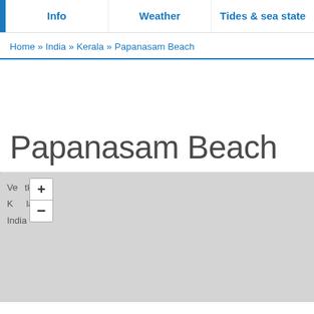Info | Weather | Tides & sea state
Home » India » Kerala » Papanasam Beach
Papanasam Beach
[Figure (map): Map placeholder showing location with zoom controls (+/-) and labels: Vettikallai, Kerala, India]